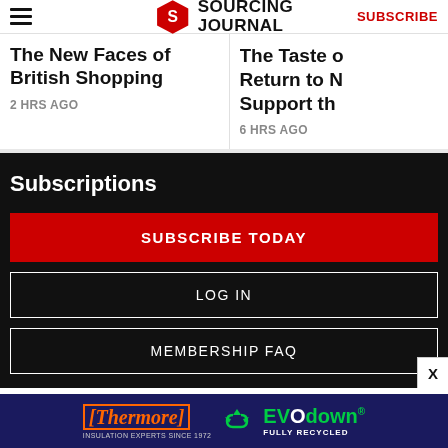Sourcing Journal — SUBSCRIBE
The New Faces of British Shopping
2 HRS AGO
The Taste of... Return to N... Support th...
6 HRS AGO
Subscriptions
SUBSCRIBE TODAY
LOG IN
MEMBERSHIP FAQ
[Figure (infographic): Thermore Insulation Experts Since 1972 — EVO down FULLY RECYCLED advertisement banner]